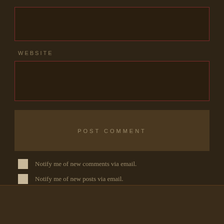[Figure (screenshot): A text input box with dark brown background and red border outline, representing an email or name input field.]
WEBSITE
[Figure (screenshot): A second text input box with dark brown background and red border outline, representing a website URL input field.]
POST COMMENT
Notify me of new comments via email.
Notify me of new posts via email.